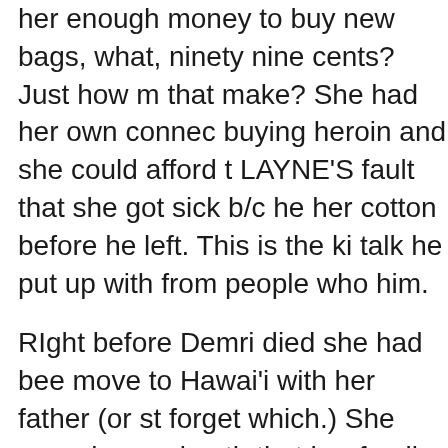her enough money to buy new bags, what, ninety nine cents? Just how much did that make? She had her own connect for buying heroin and she could afford that. LAYNE'S fault that she got sick b/c he took her cotton before he left. This is the kind of talk he put up with from people who hated him.
RIght before Demri died she had been planning to move to Hawai'i with her father (or step-father, I forget which.) She was also seeing this new guy that her family hadn't met. He was a good guy. She went out one night with the new guy and she had shot heroin before they left. They drove down to QFC and he asked her to wait in the car while he ran into the store to buy a few things. When he came out, he assumed that she was asleep. He drove around town for a w...